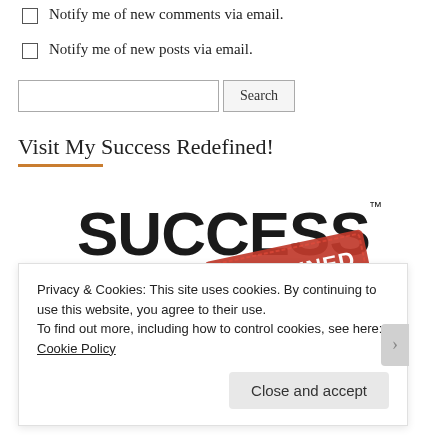Notify me of new comments via email.
Notify me of new posts via email.
Search
Visit My Success Redefined!
[Figure (logo): SUCCESS REDEFINED logo with bold black text and a red stamp overlay reading REDEFINED]
Privacy & Cookies: This site uses cookies. By continuing to use this website, you agree to their use.
To find out more, including how to control cookies, see here: Cookie Policy
Close and accept